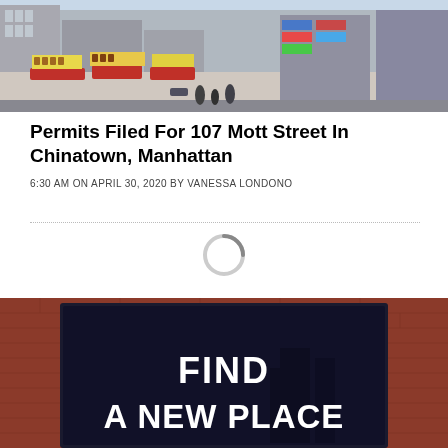[Figure (photo): Street-level photo of a Chinatown neighborhood with storefronts, colorful signs in Chinese characters, red awnings, and multi-story buildings]
Permits Filed For 107 Mott Street In Chinatown, Manhattan
6:30 AM ON APRIL 30, 2020 BY VANESSA LONDONO
[Figure (screenshot): Loading spinner icon (circular gray arc)]
[Figure (photo): Real estate advertisement image showing a building entrance with brick surround and bold white text reading FIND A NEW PLACE on a dark background]